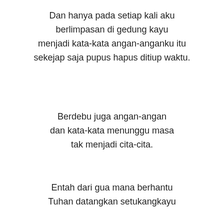Dan hanya pada setiap kali aku berlimpasan di gedung kayu menjadi kata-kata angan-anganku itu sekejap saja pupus hapus ditiup waktu.
Berdebu juga angan-angan dan kata-kata menunggu masa tak menjadi cita-cita.
Entah dari gua mana berhantu Tuhan datangkan setukangkayu